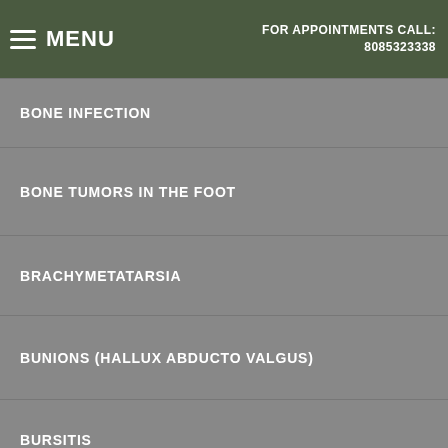MENU | FOR APPOINTMENTS CALL: 8085323338
BONE INFECTION
BONE TUMORS IN THE FOOT
BRACHYMETATARSIA
BUNIONS (HALLUX ABDUCTO VALGUS)
BURSITIS
CALCANEAL APOPHYSITIS (SEVER'S DISEASE)
CALF PAIN
CAPSULITIS OF THE SECOND TOE
CAVUS FOOT (HIGH-A...